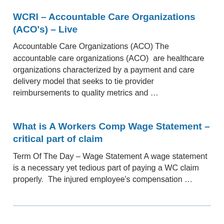WCRI – Accountable Care Organizations (ACO's) – Live
Accountable Care Organizations (ACO) The accountable care organizations (ACO)  are healthcare organizations characterized by a payment and care delivery model that seeks to tie provider reimbursements to quality metrics and …
What is A Workers Comp Wage Statement – critical part of claim
Term Of The Day – Wage Statement A wage statement is a necessary yet tedious part of paying a WC claim properly.  The injured employee's compensation …